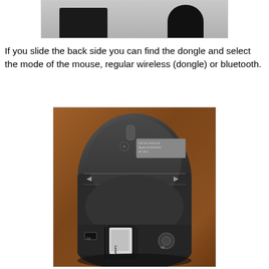[Figure (photo): Partial view of computer mouse and accessories from above, showing dark objects against a gray background, cropped at top of page.]
If you slide the back side you can find the dongle and select the mode of the mouse, regular wireless (dongle) or bluetooth.
[Figure (photo): Photo of the back/underside of a Lenovo wireless mouse placed on a wooden table. The USB dongle (Lenovo branded) is ejected from the bottom compartment. A micro-USB charging port and a Bluetooth/wireless mode toggle button are visible on the bottom edge.]